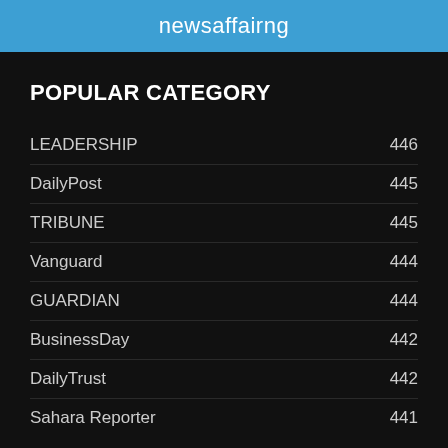newsaffairng
POPULAR CATEGORY
LEADERSHIP  446
DailyPost  445
TRIBUNE  445
Vanguard  444
GUARDIAN  444
BusinessDay  442
DailyTrust  442
Sahara Reporter  441